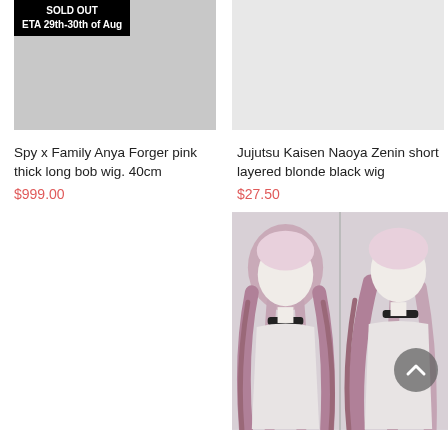[Figure (photo): Product image placeholder (gray) with SOLD OUT badge reading 'SOLD OUT ETA 29th-30th of Aug' for Spy x Family Anya Forger pink thick long bob wig]
Spy x Family Anya Forger pink thick long bob wig. 40cm
$999.00
[Figure (photo): Empty/white product image placeholder for Jujutsu Kaisen Naoya Zenin short layered blonde black wig]
Jujutsu Kaisen Naoya Zenin short layered blonde black wig
$27.50
[Figure (photo): Empty white placeholder for Pokémon Legends: Arceus Irida product]
[Figure (photo): Product photo showing two mannequin heads with pink/white long layered wig (front and side view) with a scroll-to-top button overlay — Genshin Impact Arataki Itto product]
Pokémon Legends: Arceus Irida
Genshin Impact Arataki Itto